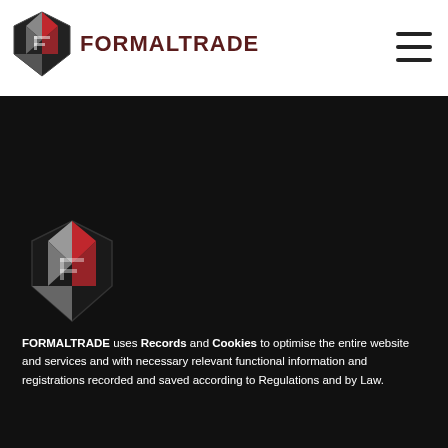analytics data. You may also have installed a WordPress plugin to…please, add information from that plugin here
[Figure (logo): FORMALTRADE logo with geometric shield icon in red and grey, company name in dark red bold text]
[Figure (logo): FORMALTRADE large shield logo in red and grey on dark background]
FORMALTRADE uses Records and Cookies to optimise the entire website and services and with necessary relevant functional information and registrations recorded and saved according to Regulations and by Law.
ACCEPT
Cookie Policy   Privacy statement